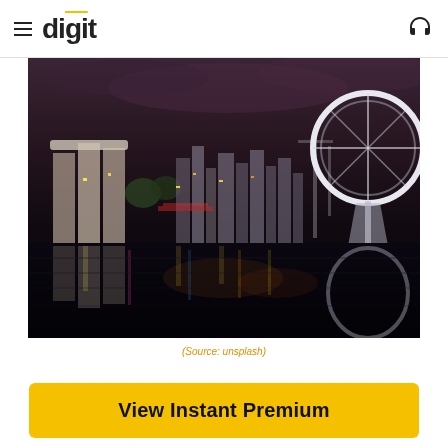digit
[Figure (photo): Nighttime skyline of Singapore showing Marina Bay Sands and Singapore Flyer with reflections on the water]
(Source: unsplash)
Popularly known as the “Lion City”, Singapore is an island city-
View Instant Premium